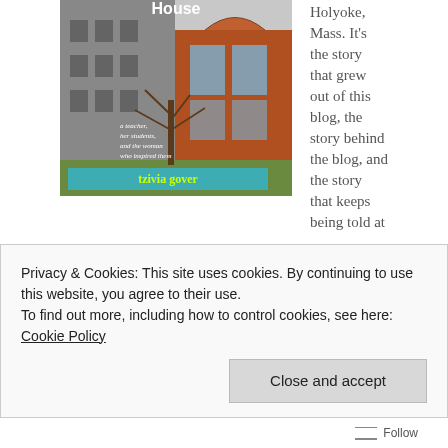[Figure (photo): Book cover of 'Learning in Mrs. Towne's House' by Tzivia Gover, showing a collage of a historic building and a modern brick building with a tree, subtitle 'a teacher, her students, and the woman who inspired them']
Holyoke, Mass. It's the story that grew out of this blog, the story behind the blog, and the story that keeps being told at
http://www.learninginmrstowneshouse.com.
LEARNING IN MRS. TOWNE'S HOUSE is available for sale:
Privacy & Cookies: This site uses cookies. By continuing to use this website, you agree to their use.
To find out more, including how to control cookies, see here: Cookie Policy
Close and accept